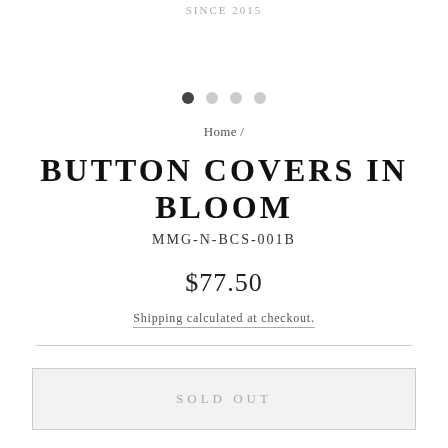SINCE 2015
[Figure (other): Four pagination dots: first dot filled dark, three dots light gray]
Home /
BUTTON COVERS IN BLOOM
MMG-N-BCS-001B
$77.50
Shipping calculated at checkout.
SOLD OUT